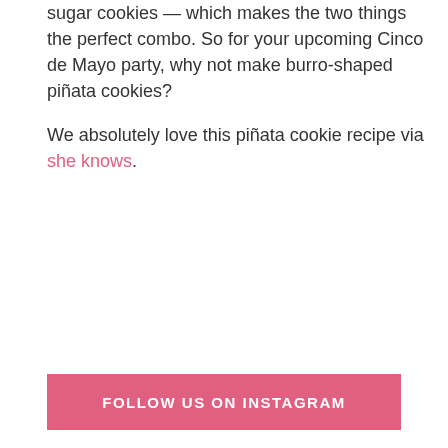sugar cookies — which makes the two things the perfect combo. So for your upcoming Cinco de Mayo party, why not make burro-shaped piñata cookies?

We absolutely love this piñata cookie recipe via she knows.
FOLLOW US ON INSTAGRAM